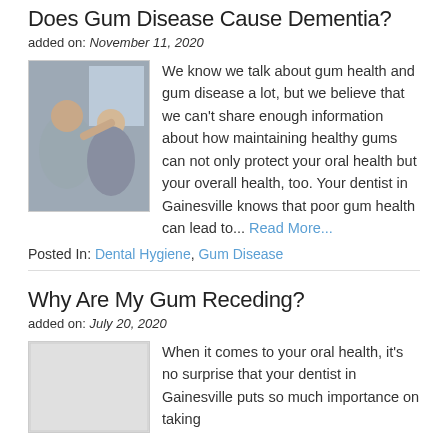Does Gum Disease Cause Dementia?
added on: November 11, 2020
[Figure (photo): Elderly man and woman sitting together, caregiver touching man's face]
We know we talk about gum health and gum disease a lot, but we believe that we can't share enough information about how maintaining healthy gums can not only protect your oral health but your overall health, too. Your dentist in Gainesville knows that poor gum health can lead to... Read More...
Posted In: Dental Hygiene, Gum Disease
Why Are My Gum Receding?
added on: July 20, 2020
[Figure (photo): Placeholder image for second article]
When it comes to your oral health, it's no surprise that your dentist in Gainesville puts so much importance on taking